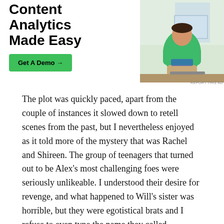[Figure (photo): Advertisement banner showing 'Content Analytics Made Easy' text with a 'Get A Demo →' green button, alongside a photo of a person in a green top working at a desk with a laptop.]
The plot was quickly paced, apart from the couple of instances it slowed down to retell scenes from the past, but I nevertheless enjoyed as it told more of the mystery that was Rachel and Shireen. The group of teenagers that turned out to be Alex's most challenging foes were seriously unlikeable. I understood their desire for revenge, and what happened to Will's sister was horrible, but they were egotistical brats and I refuse to even type the name they called themselves, it was just too silly. Caldera though, she was one tough woman and it was nice to see a heavier female amongst the thin and beautiful. I hope